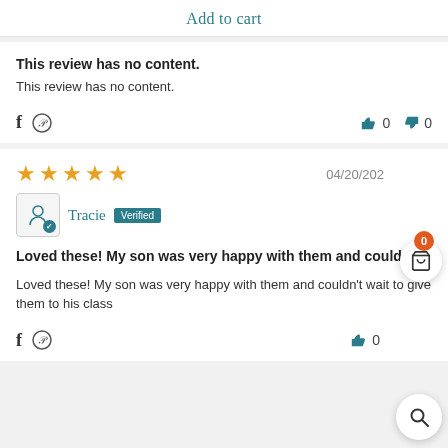Add to cart
This review has no content.
This review has no content.
04/20/202
Tracie  Verified
Loved these! My son was very happy with them and couldn't...
Loved these! My son was very happy with them and couldn't wait to give them to his class